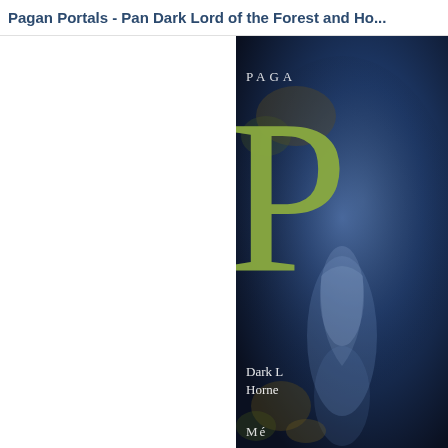Pagan Portals - Pan Dark Lord of the Forest and Ho...
[Figure (illustration): Book cover of 'Pagan Portals - Pan' showing a dark blue mystical background with a large green letter P, text reading 'Dark L... Horne...' and an author name starting with 'Mé...'. The cover has a moody atmospheric painting of a shadowy figure.]